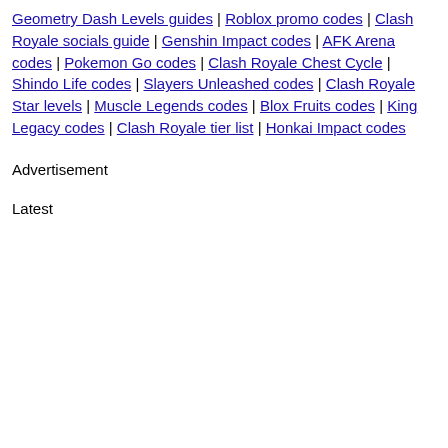Geometry Dash Levels guides | Roblox promo codes | Clash Royale socials guide | Genshin Impact codes | AFK Arena codes | Pokemon Go codes | Clash Royale Chest Cycle | Shindo Life codes | Slayers Unleashed codes | Clash Royale Star levels | Muscle Legends codes | Blox Fruits codes | King Legacy codes | Clash Royale tier list | Honkai Impact codes
Advertisement
Latest